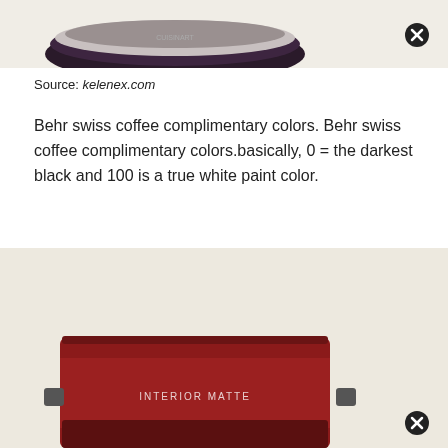[Figure (photo): Partial view of a paint can or kitchen appliance with dark purple/black color on a light beige background, with a close/remove button (circled X) in the upper right corner.]
Source: kelenex.com
Behr swiss coffee complimentary colors. Behr swiss coffee complimentary colors.basically, 0 = the darkest black and 100 is a true white paint color.
[Figure (photo): A red/dark red paint can labeled INTERIOR MATTE on a light beige background, with a close/remove button (circled X) in the lower right corner. Only the top portion of the can is visible.]